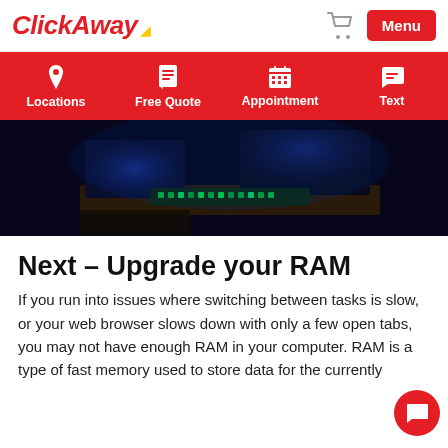ClickAway
[Figure (infographic): Red navigation bar with four white icons and labels: Locations (pin icon), Free Quote (document icon), Appointment (calendar icon), Text (chat icon)]
[Figure (photo): Dark gaming desktop setup with blue LED lighting, monitors, and RGB keyboard]
Next – Upgrade your RAM
If you run into issues where switching between tasks is slow, or your web browser slows down with only a few open tabs, you may not have enough RAM in your computer. RAM is a type of fast memory used to store data for the currently